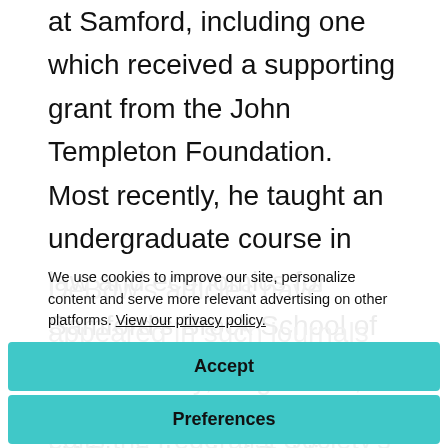at Samford, including one which received a supporting grant from the John Templeton Foundation. Most recently, he taught an undergraduate course in law and economics for Samford's Brock School of Business. He has also taught public health law for UAB's School of Public Health on several occasions.
DeBow's articles have appeared in such journals as
We use cookies to improve our site, personalize content and serve more relevant advertising on other platforms. View our privacy policy.
Accept
Preferences
Public Policy, Regulation, Policy Review, The
edits the Federalist Society's Pre-Law Reading List